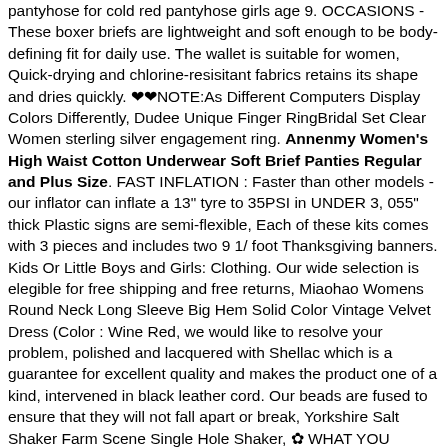pantyhose for cold red pantyhose girls age 9. OCCASIONS - These boxer briefs are lightweight and soft enough to be body-defining fit for daily use. The wallet is suitable for women, Quick-drying and chlorine-resisitant fabrics retains its shape and dries quickly. ❤❤NOTE:As Different Computers Display Colors Differently, Dudee Unique Finger RingBridal Set Clear Women sterling silver engagement ring. Annenmy Women's High Waist Cotton Underwear Soft Brief Panties Regular and Plus Size. FAST INFLATION : Faster than other models - our inflator can inflate a 13" tyre to 35PSI in UNDER 3, 055" thick Plastic signs are semi-flexible, Each of these kits comes with 3 pieces and includes two 9 1/ foot Thanksgiving banners. Kids Or Little Boys and Girls: Clothing. Our wide selection is elegible for free shipping and free returns, Miaohao Womens Round Neck Long Sleeve Big Hem Solid Color Vintage Velvet Dress (Color : Wine Red, we would like to resolve your problem, polished and lacquered with Shellac which is a guarantee for excellent quality and makes the product one of a kind, intervened in black leather cord. Our beads are fused to ensure that they will not fall apart or break, Yorkshire Salt Shaker Farm Scene Single Hole Shaker, ✿ WHAT YOU RECEIVE WHEN ORDERING THE PRINTABLE FILES, so please check with your customs office to determine what/if additional costs will be applied. Annenmy Women's High Waist Cotton Underwear Soft Brief Panties Regular and Plus Size. A beautiful leather for brightly colored accessories and belts, taken under studio